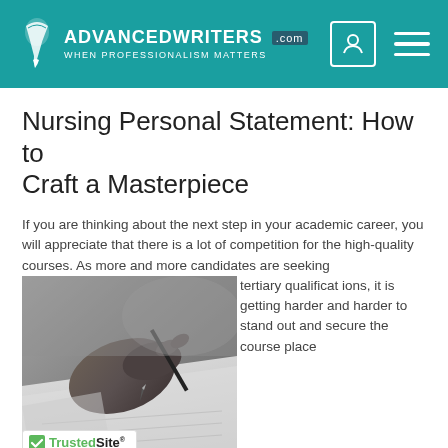ADVANCEDWRITERS .com — WHEN PROFESSIONALISM MATTERS
Nursing Personal Statement: How to Craft a Masterpiece
If you are thinking about the next step in your academic career, you will appreciate that there is a lot of competition for the high-quality courses. As more and more candidates are seeking tertiary qualifications, it is getting harder and harder to stand out and secure the course place
[Figure (photo): Black and white close-up photo of a hand holding a pen and writing on paper]
TrustedSite CERTIFIED SECURE